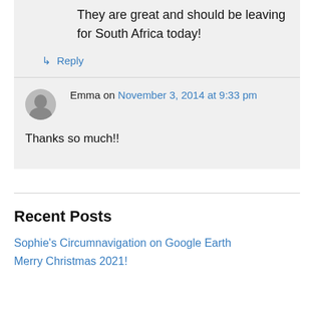They are great and should be leaving for South Africa today!
↳ Reply
Emma on November 3, 2014 at 9:33 pm
Thanks so much!!
Recent Posts
Sophie's Circumnavigation on Google Earth
Merry Christmas 2021!